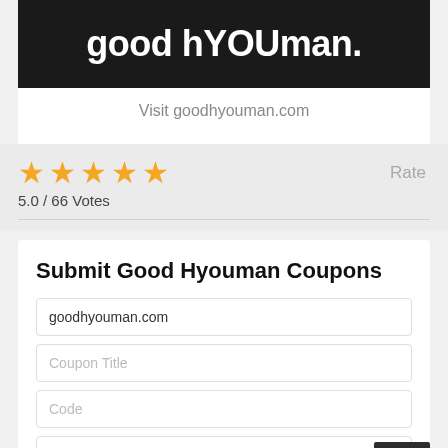[Figure (logo): Good hYOUman brand banner — dark/black background with large white bold text reading 'good hYOUman.']
Visit goodhyouman.com
5.0 / 66 Votes
Rate
Submit Good Hyouman Coupons
goodhyouman.com
Coupon Title
Code
Description